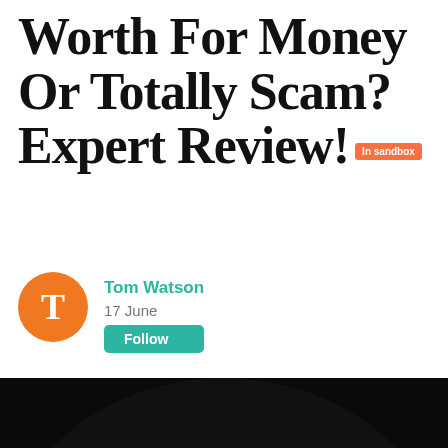Worth For Money Or Totally Scam? Expert Review! [In sandbox]
Tom Watson
17 June
Follow
[Figure (photo): Colorful gummy bears spilling out of a glass jar, photographed on a dark background with bright multi-colored candy bears including red, pink, yellow, green, blue, orange and white varieties.]